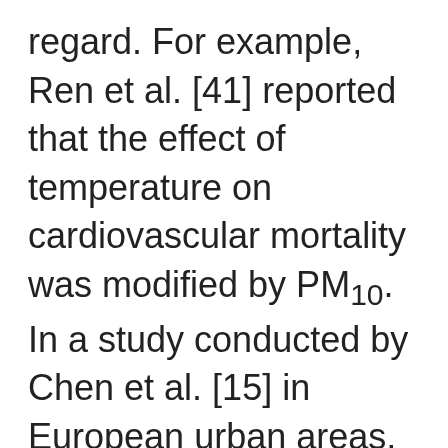regard. For example, Ren et al. [41] reported that the effect of temperature on cardiovascular mortality was modified by PM10. In a study conducted by Chen et al. [15] in European urban areas, the effect of temperature on cardiovascular mortality was not significantly